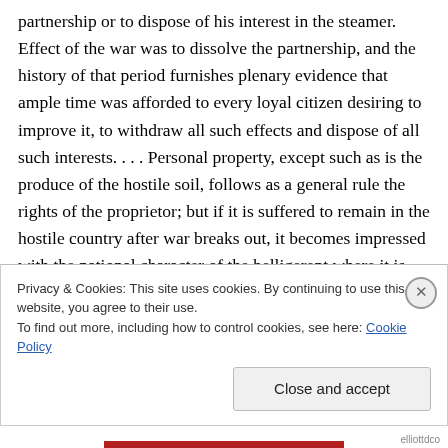partnership or to dispose of his interest in the steamer. Effect of the war was to dissolve the partnership, and the history of that period furnishes plenary evidence that ample time was afforded to every loyal citizen desiring to improve it, to withdraw all such effects and dispose of all such interests. . . . Personal property, except such as is the produce of the hostile soil, follows as a general rule the rights of the proprietor; but if it is suffered to remain in the hostile country after war breaks out, it becomes impressed with the national character of the belligerent where it is
Privacy & Cookies: This site uses cookies. By continuing to use this website, you agree to their use.
To find out more, including how to control cookies, see here: Cookie Policy